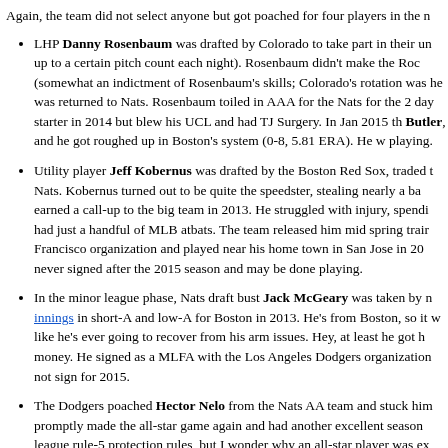Again, the team did not select anyone but got poached for four players in the r...
LHP Danny Rosenbaum was drafted by Colorado to take part in their un... up to a certain pitch count each night). Rosenbaum didn't make the Roc... (somewhat an indictment of Rosenbaum's skills; Colorado's rotation was ... he was returned to Nats. Rosenbaum toiled in AAA for the Nats for the 2... day starter in 2014 but blew his UCL and had TJ Surgery. In Jan 2015 th... Butler, and he got roughed up in Boston's system (0-8, 5.81 ERA). He w... playing.
Utility player Jeff Kobernus was drafted by the Boston Red Sox, traded t... Nats. Kobernus turned out to be quite the speedster, stealing nearly a ba... earned a call-up to the big team in 2013. He struggled with injury, spend... had just a handful of MLB atbats. The team released him mid spring train... Francisco organization and played near his home town in San Jose in 20... never signed after the 2015 season and may be done playing.
In the minor league phase, Nats draft bust Jack McGeary was taken by n... innings in short-A and low-A for Boston in 2013. He's from Boston, so it v... like he's ever going to recover from his arm issues. Hey, at least he got h... money. He signed as a MLFA with the Los Angeles Dodgers organization... not sign for 2015.
The Dodgers poached Hector Nelo from the Nats AA team and stuck him... promptly made the all-star game again and had another excellent season... league rule-5 protection rules, but I wonder why an all-star player was ex... struggled in 2014, was released and looks like he's out of affiliated ball.